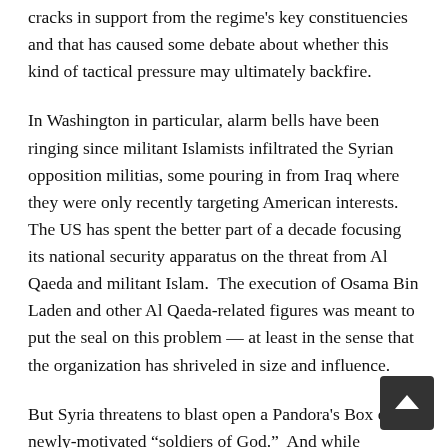cracks in support from the regime's key constituencies and that has caused some debate about whether this kind of tactical pressure may ultimately backfire.
In Washington in particular, alarm bells have been ringing since militant Islamists infiltrated the Syrian opposition militias, some pouring in from Iraq where they were only recently targeting American interests.  The US has spent the better part of a decade focusing its national security apparatus on the threat from Al Qaeda and militant Islam.  The execution of Osama Bin Laden and other Al Qaeda-related figures was meant to put the seal on this problem — at least in the sense that the organization has shriveled in size and influence.
But Syria threatens to blast open a Pandora's Box of newly-motivated “soldiers of God.”  And while sectarian anger may be the fuse, the conflagration will take place on a major geopolitical fault line in the Mideast, at a delicate time, on one of Israel's borders — and chang… [continues]